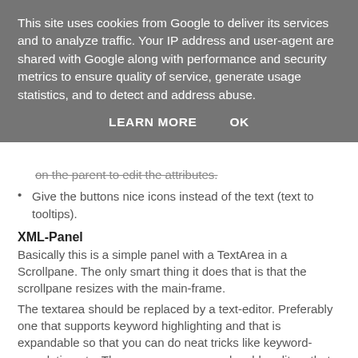This site uses cookies from Google to deliver its services and to analyze traffic. Your IP address and user-agent are shared with Google along with performance and security metrics to ensure quality of service, generate usage statistics, and to detect and address abuse.
LEARN MORE    OK
on the parent to edit the attributes.
Give the buttons nice icons instead of the text (text to tooltips).
XML-Panel
Basically this is a simple panel with a TextArea in a Scrollpane. The only smart thing it does that is that the scrollpane resizes with the main-frame.
The textarea should be replaced by a text-editor. Preferably one that supports keyword highlighting and that is expandable so that you can do neat tricks like keyword-completion etc. There are opensource plugable editors that do this. So I have to find out which one to use.
XPath Panel